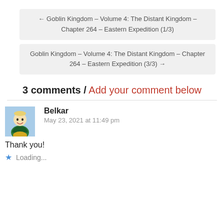← Goblin Kingdom – Volume 4: The Distant Kingdom – Chapter 264 – Eastern Expedition (1/3)
Goblin Kingdom – Volume 4: The Distant Kingdom – Chapter 264 – Eastern Expedition (3/3) →
3 comments / Add your comment below
Belkar
May 23, 2021 at 11:49 pm
Thank you!
Loading...